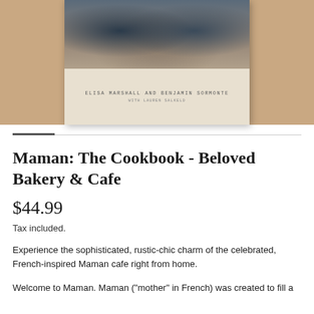[Figure (photo): Book cover of 'Maman: The Cookbook' showing three people sharing food against a wooden background, with author names 'Elisa Marshall and Benjamin Sormonte, with Lauren Salkeld' displayed on a cream/linen colored lower section. The book is shown against a tan/caramel background.]
Maman: The Cookbook - Beloved Bakery & Cafe
$44.99
Tax included.
Experience the sophisticated, rustic-chic charm of the celebrated, French-inspired Maman cafe right from home.
Welcome to Maman. Maman ("mother" in French) was created to fill a